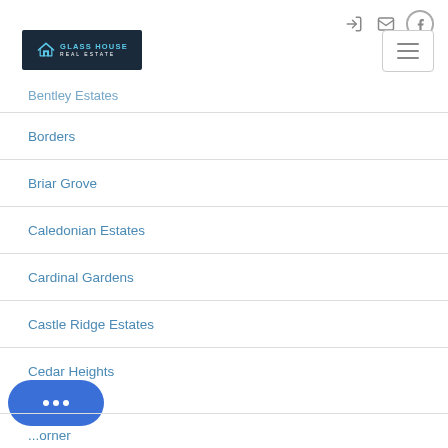Glass House Real Estate — navigation header with logo and icons
Bentley Estates
Borders
Briar Grove
Caledonian Estates
Cardinal Gardens
Castle Ridge Estates
Cedar Heights
...orner (partially visible)